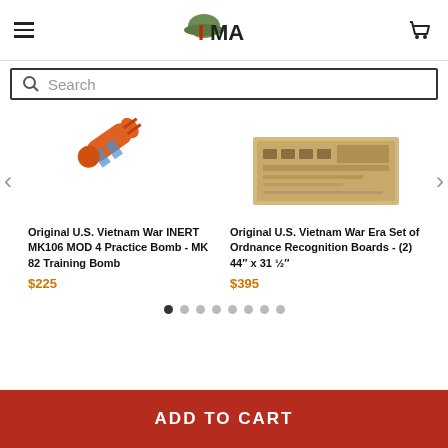IMA — International Military Antiques website header with hamburger menu, logo, and cart icon
Search
[Figure (photo): Partial view of an orange/blue practice bomb (MK106 MOD 4)]
Original U.S. Vietnam War INERT MK106 MOD 4 Practice Bomb - MK 82 Training Bomb
$225
[Figure (photo): Ordnance Recognition Boards — beige/tan boards with military markings, (2) 44 x 31.5 inch]
Original U.S. Vietnam War Era Set of Ordnance Recognition Boards - (2) 44″ x 31 ½″
$395
ADD TO CART